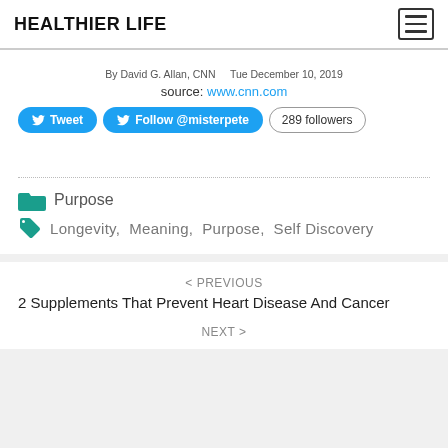HEALTHIER LIFE
By David G. Allan, CNN   Tue December 10, 2019
source: www.cnn.com
Tweet  Follow @misterpete  289 followers
Purpose
Longevity, Meaning, Purpose, Self Discovery
< PREVIOUS
2 Supplements That Prevent Heart Disease And Cancer
NEXT >